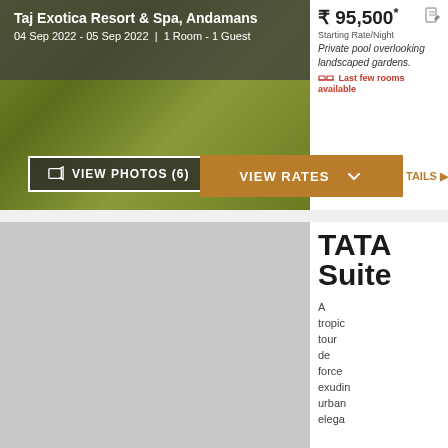Taj Exotica Resort & Spa, Andamans
04 Sep 2022 - 05 Sep 2022 | 1 Room - 1 Guest
₹ 95,500* Starting Rate/Night
Private pool overlooking landscaped gardens.
Last few rooms available
VIEW RATES
TAILS
[Figure (photo): Hotel exterior/landscape blurred green background image for Taj Exotica Resort & Spa, Andamans with VIEW PHOTOS (6) button overlay]
VIEW PHOTOS (6)
TATA Suite
A tropic tour de force exuding urban elega
[Figure (photo): Gray placeholder image for TATA Suite room photo]